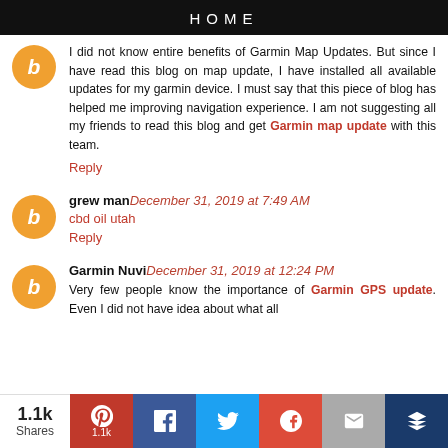HOME
I did not know entire benefits of Garmin Map Updates. But since I have read this blog on map update, I have installed all available updates for my garmin device. I must say that this piece of blog has helped me improving navigation experience. I am not suggesting all my friends to read this blog and get Garmin map update with this team.
Reply
grew man December 31, 2019 at 7:49 AM
cbd oil utah
Reply
Garmin Nuvi December 31, 2019 at 12:24 PM
Very few people know the importance of Garmin GPS update. Even I did not have idea about what all